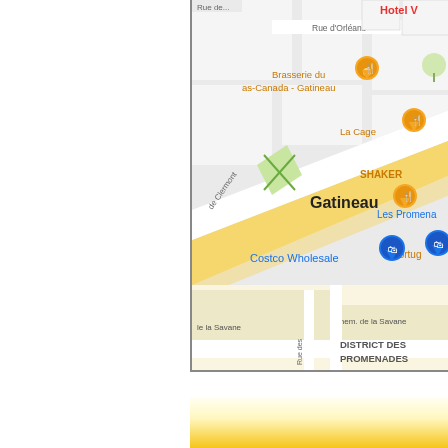[Figure (map): Google Maps screenshot showing Gatineau area with landmarks including Brasserie du Bas-Canada - Gatineau, La Cage, SHAKER, Costco Wholesale, Les Promenades, and DISTRICT DES PROMENADES. Streets visible include Rue d'Orléans, de Clermont, Chem. de la Savane, Rue des, le la Savane. Hotel V visible in top right. Map shows a diagonal yellow highway/road (likely Boulevard de la Gappe or similar) running through the center.]
Home | Sandra's Shlog | About Sandra | All Stores | Clothing | Household | Leisure |